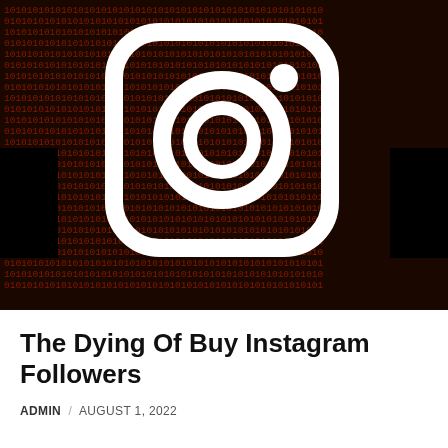[Figure (illustration): Instagram logo icon (white rounded square camera icon) overlaid on a dark background filled with repeating binary digits (0s and 1s) in red/orange tones, with black bars on the left and right sides.]
The Dying Of Buy Instagram Followers
ADMIN / AUGUST 1, 2022